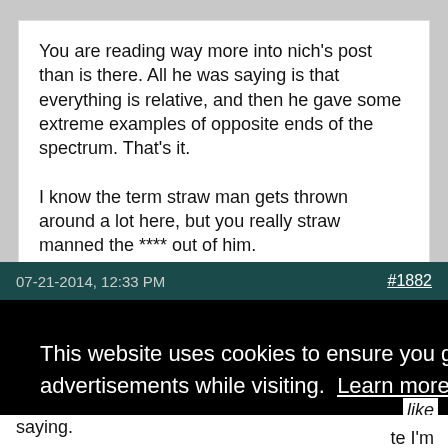You are reading way more into nich's post than is there. All he was saying is that everything is relative, and then he gave some extreme examples of opposite ends of the spectrum. That's it.

I know the term straw man gets thrown around a lot here, but you really straw manned the **** out of him.
07-21-2014, 12:33 PM   #1882
This website uses cookies to ensure you get the best experience and relevant advertisements while visiting.  Learn more
Got it!
like
te I'm saying.